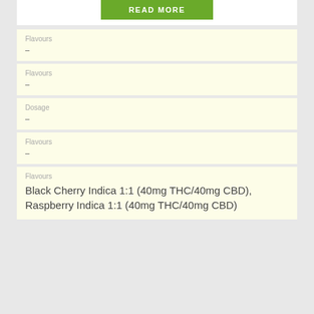[Figure (other): Green READ MORE button]
Flavours
–
Flavours
–
Dosage
–
Flavours
–
Flavours
Black Cherry Indica 1:1 (40mg THC/40mg CBD), Raspberry Indica 1:1 (40mg THC/40mg CBD)